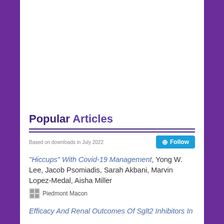Popular Articles
Based on downloads in July 2022
“Hiccups” With Covid-19 Management, Yong W. Lee, Jacob Psomiadis, Sarah Akbani, Marvin Lopez-Medal, Aisha Miller
Piedmont Macon
Efficacy And Renal Outcomes Of Sglt2 Inhibitors In